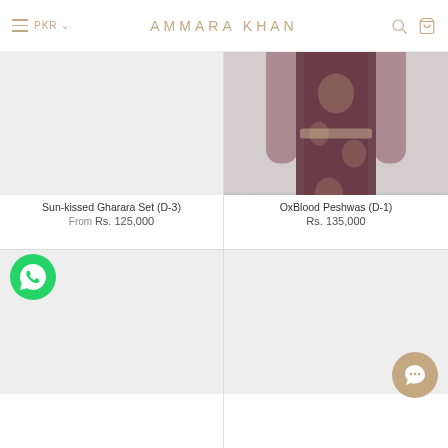AMMARA KHAN | PKR
[Figure (photo): Light gray placeholder image for Sun-kissed Gharara Set product]
Sun-kissed Gharara Set (D-3) From Rs. 125,000
[Figure (photo): Photo of model wearing OxBlood Peshwas dark maroon embroidered dress with sheer sleeves]
OxBlood Peshwas (D-1) Rs. 135,000
[Figure (photo): Light gray placeholder image for bottom-left product]
[Figure (photo): Light gray placeholder image for bottom-right product]